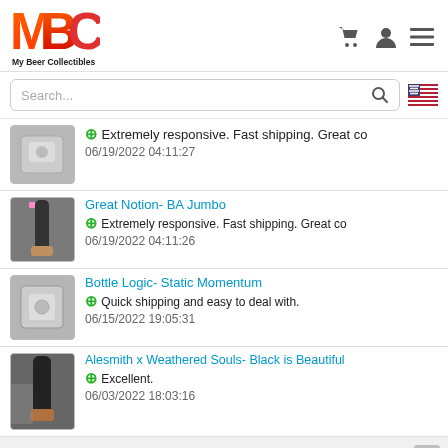[Figure (logo): MBC My Beer Collectibles logo with orange and red stylized text]
[Figure (screenshot): Search bar with placeholder text 'Search...' and magnifier icon, plus US flag icon]
Extremely responsive. Fast shipping. Great co... 06/19/2022 04:11:27
Great Notion- BA Jumbo | Extremely responsive. Fast shipping. Great co... 06/19/2022 04:11:26
Bottle Logic- Static Momentum | Quick shipping and easy to deal with. 06/15/2022 19:05:31
Alesmith x Weathered Souls- Black is Beautiful | Excellent. 06/03/2022 18:03:16